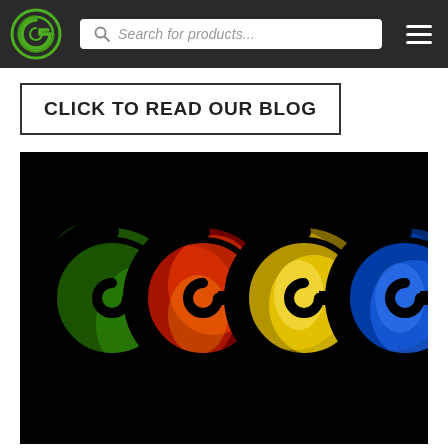[Figure (screenshot): Website header bar with green G logo, search bar reading 'Search for products...', and hamburger menu icon on dark background]
CLICK TO READ OUR BLOG
[Figure (illustration): Four stylized G logos on black background: green (leafy texture), red/orange (fire texture), gold/yellow (metallic), blue (metallic)]